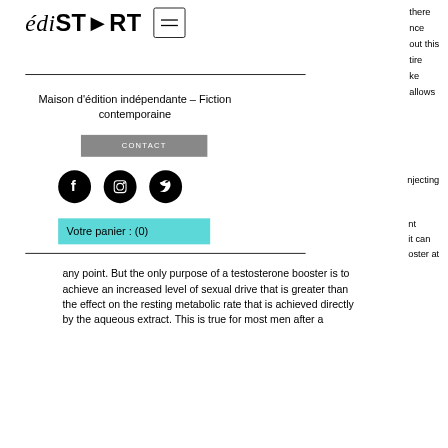[Figure (logo): édiSTART logo with hamburger menu button]
Maison d'édition indépendante – Fiction contemporaine
CONTACT
[Figure (illustration): Social media icons: Facebook, Instagram, Twitter]
Votre panier : (0)
any point. But the only purpose of a testosterone booster is to achieve an increased level of sexual drive that is greater than the effect on the resting metabolic rate that is achieved directly by the aqueous extract. This is true for most men after a
there nce out this tire ke allows
njecting
nt it can oster at